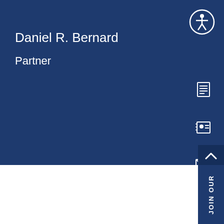Daniel R. Bernard
Partner
[Figure (illustration): Accessibility icon - circle with person figure, on dark blue background]
[Figure (illustration): Document/vCard icon - white lines forming document shape on dark blue]
[Figure (illustration): Contact card icon on dark blue background]
[Figure (illustration): Envelope/email icon on dark blue background]
[Figure (illustration): Phone icon on dark blue background]
[Figure (screenshot): Law firm banner image showing SHEA, KELLEY, DUBIN & QUARTARARO, LLP text with dark blue panels on sides]
NEWS | December 16, 2019
Associate Daniel R. Bernard Discusses Estate Planning Considerations For Snowbirds On “Dead Celebrity Podcast”